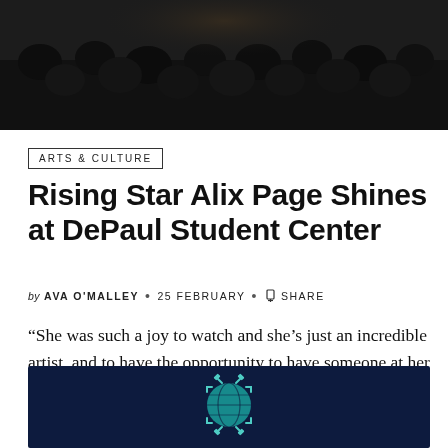[Figure (photo): Dark photograph of audience members in a dimly lit venue, silhouettes visible from behind]
ARTS & CULTURE
Rising Star Alix Page Shines at DePaul Student Center
by AVA O'MALLEY • 25 FEBRUARY • SHARE
“She was such a joy to watch and she’s just an incredible artist, and to have the opportunity to have someone at her level come..
[Figure (illustration): Dark navy background with a teal/cyan globe-like spherical icon with geometric bracket elements around it, centered in the image]